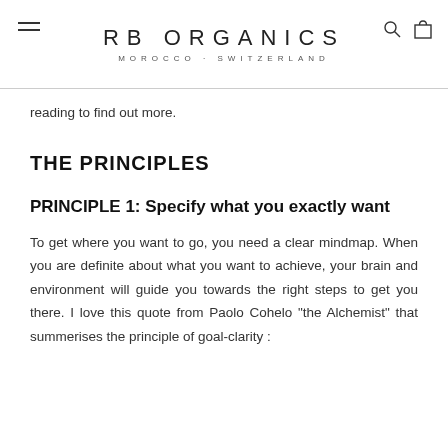RB ORGANICS MOROCCO · SWITZERLAND
reading to find out more.
THE PRINCIPLES
PRINCIPLE 1: Specify what you exactly want
To get where you want to go, you need a clear mindmap. When you are definite about what you want to achieve, your brain and environment will guide you towards the right steps to get you there. I love this quote from Paolo Cohelo "the Alchemist" that summerises the principle of goal-clarity :